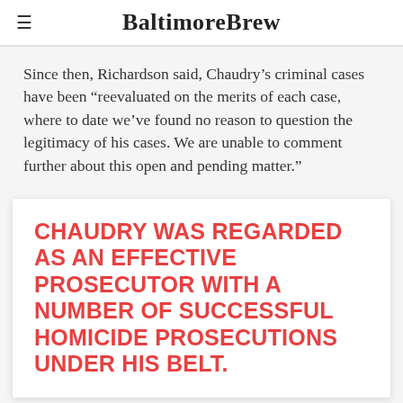BaltimoreBrew
Since then, Richardson said, Chaudry’s criminal cases have been “reevaluated on the merits of each case, where to date we’ve found no reason to question the legitimacy of his cases. We are unable to comment further about this open and pending matter.”
CHAUDRY WAS REGARDED AS AN EFFECTIVE PROSECUTOR WITH A NUMBER OF SUCCESSFUL HOMICIDE PROSECUTIONS UNDER HIS BELT.